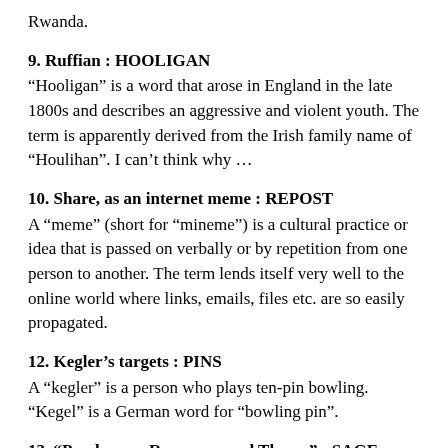Rwanda.
9. Ruffian : HOOLIGAN
“Hooligan” is a word that arose in England in the late 1800s and describes an aggressive and violent youth. The term is apparently derived from the Irish family name of “Houlihan”. I can’t think why …
10. Share, as an internet meme : REPOST
A “meme” (short for “mineme”) is a cultural practice or idea that is passed on verbally or by repetition from one person to another. The term lends itself very well to the online world where links, emails, files etc. are so easily propagated.
12. Kegler’s targets : PINS
A “kegler” is a person who plays ten-pin bowling. “Kegel” is a German word for “bowling pin”.
13. “Parsley, __, Rosemary and Thyme” : SAGE